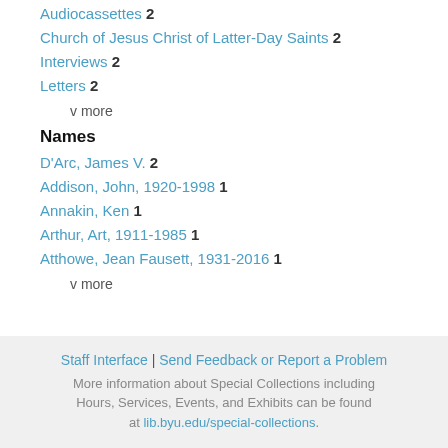Audiocassettes 2
Church of Jesus Christ of Latter-Day Saints 2
Interviews 2
Letters 2
v more
Names
D'Arc, James V. 2
Addison, John, 1920-1998 1
Annakin, Ken 1
Arthur, Art, 1911-1985 1
Atthowe, Jean Fausett, 1931-2016 1
v more
Staff Interface | Send Feedback or Report a Problem
More information about Special Collections including Hours, Services, Events, and Exhibits can be found at lib.byu.edu/special-collections.